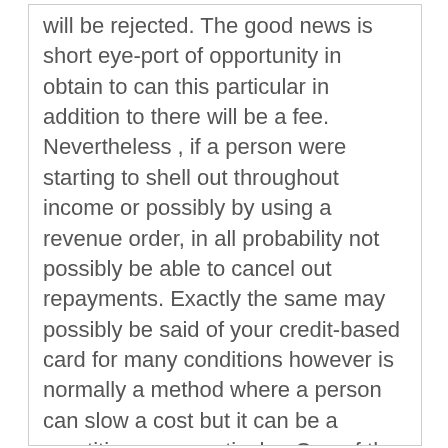will be rejected. The good news is short eye-port of opportunity in obtain to can this particular in addition to there will be a fee. Nevertheless , if a person were starting to shell out throughout income or possibly by using a revenue order, in all probability not possibly be able to cancel out repayments. Exactly the same may possibly be said of your credit-based card for many conditions however is normally a method where a person can slow a cost but it can be a repetitious one particular. One of the actual most forgotten about benefits to writing a check would always be the capacity to impress many others with the main variations on the look at. Some effectively skeptical in which uniquely constructed and specified checks can produce a good impact. The actuality is primary looking fashionable checks know a good deal about who you are and even your organization which can be why countless will visit in the additional expense